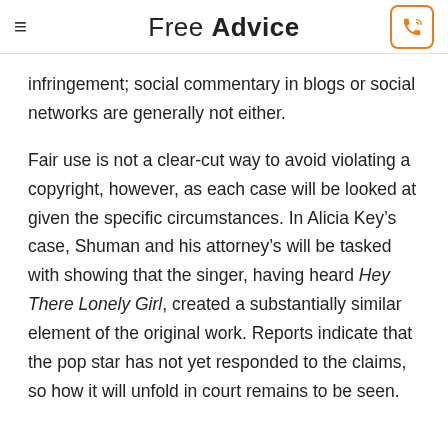Free Advice
infringement; social commentary in blogs or social networks are generally not either.
Fair use is not a clear-cut way to avoid violating a copyright, however, as each case will be looked at given the specific circumstances. In Alicia Key’s case, Shuman and his attorney’s will be tasked with showing that the singer, having heard Hey There Lonely Girl, created a substantially similar element of the original work. Reports indicate that the pop star has not yet responded to the claims, so how it will unfold in court remains to be seen.